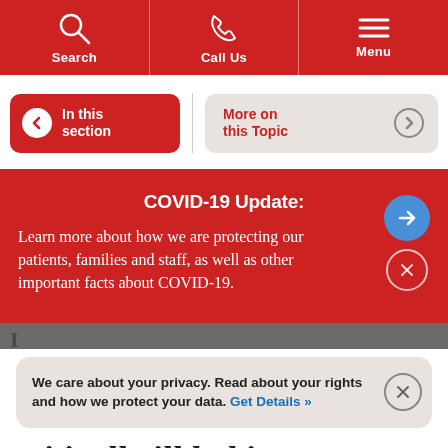[Figure (screenshot): Hospital website navigation bar with red background showing Search, Call Us, and Menu icons in white]
[Figure (screenshot): Navigation buttons: 'In this section' red button with back arrow and 'More on this Topic' beige button with forward arrow]
COVID-19 Update:
Learn more about how we are protecting our patients, families and staff, as well as other important facts about COVID-19.
We care about your privacy. Read about your rights and how we protect your data. Get Details »
critically ill babies